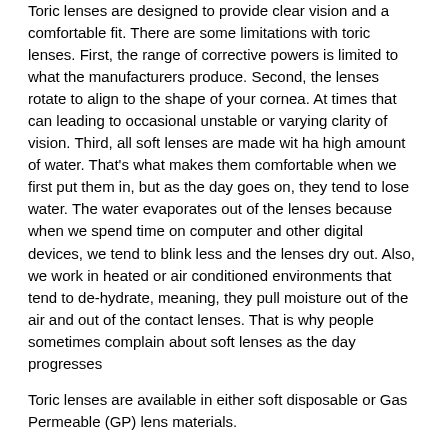Toric lenses are designed to provide clear vision and a comfortable fit. There are some limitations with toric lenses. First, the range of corrective powers is limited to what the manufacturers produce. Second, the lenses rotate to align to the shape of your cornea. At times that can leading to occasional unstable or varying clarity of vision. Third, all soft lenses are made wit ha high amount of water. That's what makes them comfortable when we first put them in, but as the day goes on, they tend to lose water. The water evaporates out of the lenses because when we spend time on computer and other digital devices, we tend to blink less and the lenses dry out. Also, we work in heated or air conditioned environments that tend to de-hydrate, meaning, they pull moisture out of the air and out of the contact lenses. That is why people sometimes complain about soft lenses as the day progresses
Toric lenses are available in either soft disposable or Gas Permeable (GP) lens materials.
Gas Permeable Contact Lenses
Gas Permeable (GP) lenses are made of a different material that does not have water in it, so they don't dry out like soft toric lenses do. As the day progresses they generally provide better vision that...